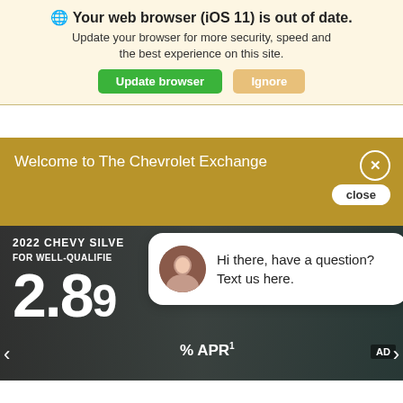🌐 Your web browser (iOS 11) is out of date. Update your browser for more security, speed and the best experience on this site.
Update browser
Ignore
Welcome to The Chevrolet Exchange
close
2022 CHEVY SILVE
FOR WELL-QUALIFIE
2.89% APR
Hi there, have a question? Text us here.
This site uses cookies.
OK